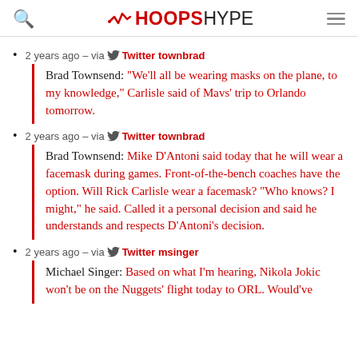HOOPSHYPE
2 years ago – via Twitter townbrad
Brad Townsend: "We'll all be wearing masks on the plane, to my knowledge," Carlisle said of Mavs' trip to Orlando tomorrow.
2 years ago – via Twitter townbrad
Brad Townsend: Mike D'Antoni said today that he will wear a facemask during games. Front-of-the-bench coaches have the option. Will Rick Carlisle wear a facemask? "Who knows? I might," he said. Called it a personal decision and said he understands and respects D'Antoni's decision.
2 years ago – via Twitter msinger
Michael Singer: Based on what I'm hearing, Nikola Jokic won't be on the Nuggets' flight today to ORL. Would've